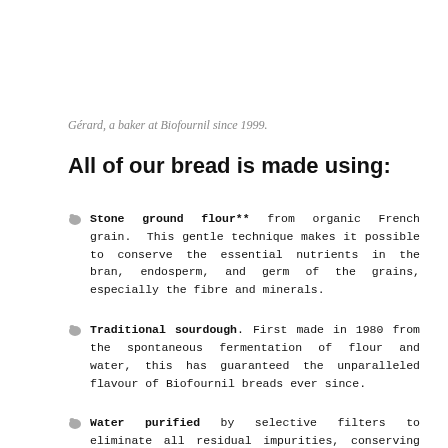Gérard, a baker at Biofournil since 1999.
All of our bread is made using:
Stone ground flour** from organic French grain. This gentle technique makes it possible to conserve the essential nutrients in the bran, endosperm, and germ of the grains, especially the fibre and minerals.
Traditional sourdough. First made in 1980 from the spontaneous fermentation of flour and water, this has guaranteed the unparalleled flavour of Biofournil breads ever since.
Water purified by selective filters to eliminate all residual impurities, conserving only the water and mineral ions.